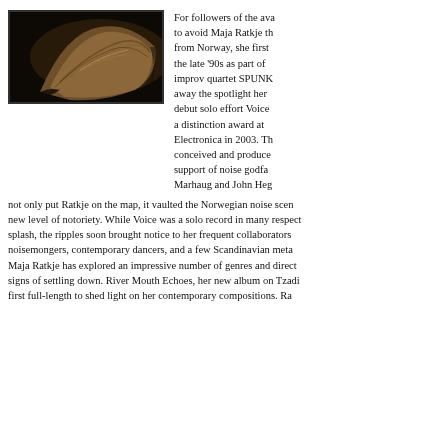[Figure (photo): Close-up dark photograph of what appears to be textured organic surface, possibly skin or wood, with warm brown tones against a dark background, framed with a thin border.]
For followers of the avant-garde it would be hard to avoid Maja Ratkje these days. Hailing from Norway, she first came to prominence in the late '90s as part of the volatile free improv quartet SPUNK, before she stole away the spotlight herself with her acclaimed debut solo effort Voice which earned her a distinction award at Ars Electronica in 2003. The work, conceived and produced with the support of noise godfathers Lasse Marhaug and John Hegre, not only put Ratkje on the map, it vaulted the Norwegian noise scene to a new level of notoriety. While Voice was a solo record in many respects made a splash, the ripples soon brought notice to her frequent collaborators — fellow noisemongers, contemporary dancers, and a few Scandinavian metal heads. Since then Maja Ratkje has explored an impressive number of genres and directions with no signs of settling down. River Mouth Echoes, her new album on Tzadik, marks the first full-length to shed light on her contemporary compositions. Ra...